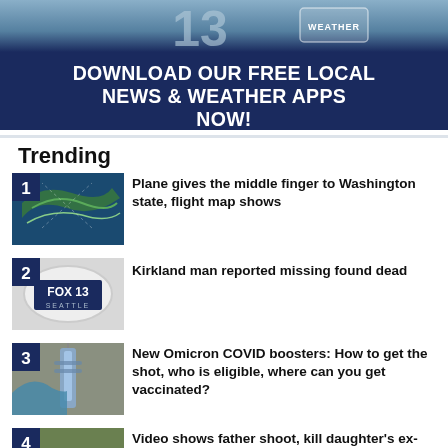[Figure (illustration): Dark blue banner advertisement with number 13 and weather icon visible at top, with white bold text reading DOWNLOAD OUR FREE LOCAL NEWS & WEATHER APPS NOW!]
Trending
[Figure (photo): Flight map showing Washington state with green radar overlay, ranked #1]
Plane gives the middle finger to Washington state, flight map shows
[Figure (photo): FOX 13 Seattle logo on white plate, ranked #2]
Kirkland man reported missing found dead
[Figure (photo): Medical syringe/vaccine shot close-up, ranked #3]
New Omicron COVID boosters: How to get the shot, who is eligible, where can you get vaccinated?
[Figure (photo): Outdoor scene with trees and vehicle, ranked #4]
Video shows father shoot, kill daughter's ex-boyfriend as he breaks